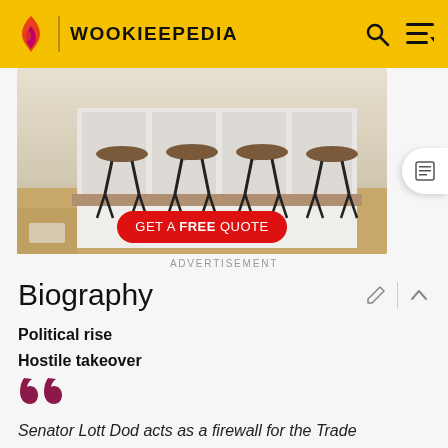WOOKIEEPEDIA
[Figure (photo): Advertisement photo showing bar stools in a kitchen setting with a red 'GET A FREE QUOTE' button overlay]
ADVERTISEMENT
Biography
Political rise
Hostile takeover
Senator Lott Dod acts as a firewall for the Trade Federation. Getting an audience with their leadership is nearly impossible.